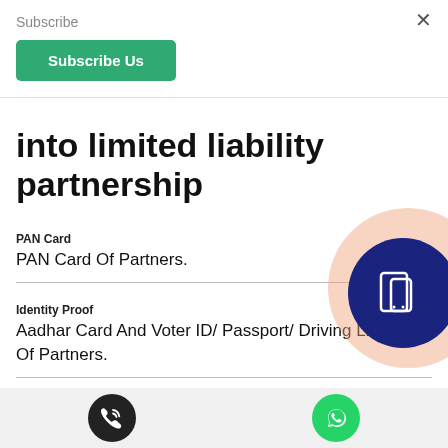Subscribe
Subscribe Us
into limited liability partnership
PAN Card
PAN Card Of Partners.
Identity Proof
Aadhar Card And Voter ID/ Passport/ Driving License Of Partners.
Address Proof
Latest Telephone Bill /Electricity Bill/ Bank Account Statement